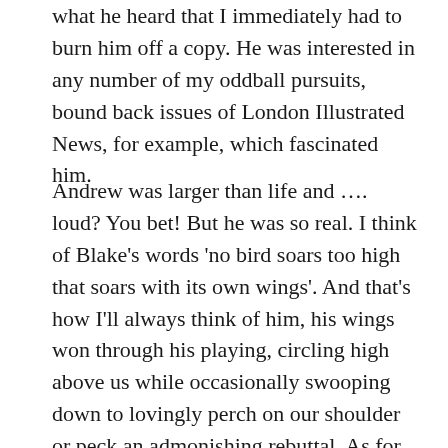what he heard that I immediately had to burn him off a copy. He was interested in any number of my oddball pursuits, bound back issues of London Illustrated News, for example, which fascinated him.
Andrew was larger than life and …. loud? You bet! But he was so real. I think of Blake's words 'no bird soars too high that soars with its own wings'. And that's how I'll always think of him, his wings won through his playing, circling high above us while occasionally swooping down to lovingly perch on our shoulder or peck an admonishing rebuttal. As for religion, he loathed it – not his racial heritage (he was certainly no self-hating Jew) – but the rituals and external trappings. He was once over at ours for his favourite chicken lunch when I showed him Robert Alter's recent